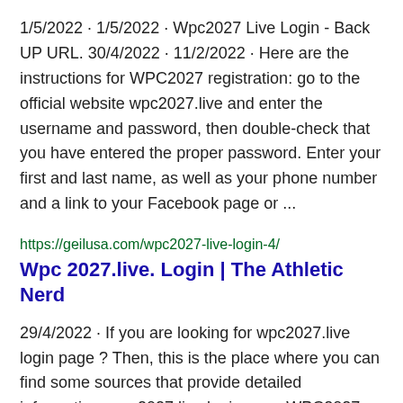1/5/2022 · 1/5/2022 · Wpc2027 Live Login - Back UP URL. 30/4/2022 · 11/2/2022 · Here are the instructions for WPC2027 registration: go to the official website wpc2027.live and enter the username and password, then double-check that you have entered the proper password. Enter your first and last name, as well as your phone number and a link to your Facebook page or ...
https://geilusa.com/wpc2027-live-login-4/
Wpc 2027.live. Login | The Athletic Nerd
29/4/2022 · If you are looking for wpc2027.live login page ? Then, this is the place where you can find some sources that provide detailed information. wpc2027.live login page WPC2027. By using this site you agree with the terms and conditions and the privacy policyterms and conditions and